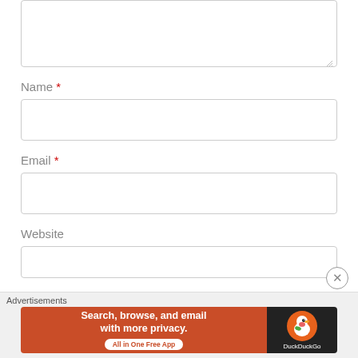[Figure (screenshot): Textarea input box (partially visible, top of page) with resize handle at bottom-right corner]
Name *
[Figure (screenshot): Name text input field (empty, white, rounded border)]
Email *
[Figure (screenshot): Email text input field (empty, white, rounded border)]
Website
[Figure (screenshot): Website text input field (empty, white, rounded border, partially visible)]
Advertisements
[Figure (screenshot): DuckDuckGo advertisement banner: orange left panel saying 'Search, browse, and email with more privacy. All in One Free App' and dark right panel with DuckDuckGo duck logo]